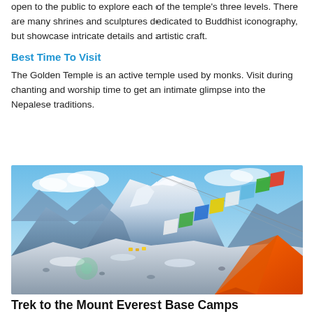open to the public to explore each of the temple's three levels. There are many shrines and sculptures dedicated to Buddhist iconography, but showcase intricate details and artistic craft.
Best Time To Visit
The Golden Temple is an active temple used by monks. Visit during chanting and worship time to get an intimate glimpse into the Nepalese traditions.
[Figure (photo): Mountain landscape with snow-capped peaks, blue sky with clouds, colorful prayer flags strung diagonally, and an orange tent in the foreground — Everest Base Camp area, Nepal.]
Trek to the Mount Everest Base Camps